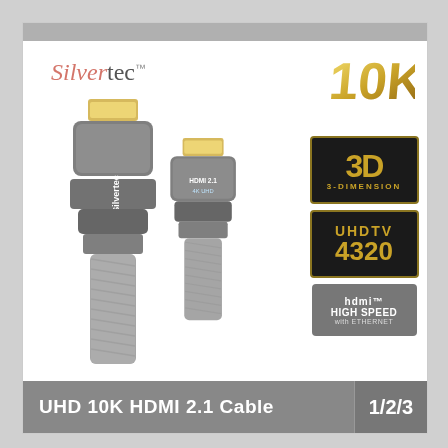[Figure (photo): Silvertec brand product package for UHD 10K HDMI 2.1 Cable showing two HDMI cable connectors (grey braided), with brand name Silvertec top left, 10K gold badge top right, 3D/3-Dimension badge, UHDTV 4320 badge, HDMI High Speed with Ethernet badge on right side, and product title bar at bottom reading 'UHD 10K HDMI 2.1 Cable' with '1/2/3' length indicator.]